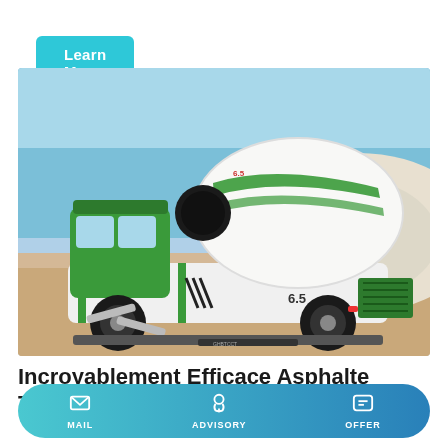Learn More
[Figure (photo): A green and white self-loading concrete mixer truck parked on sandy ground with a white gravel hill in the background under a clear blue sky. The mixer drum is white with green stripes. The vehicle body is branded with '6.5'.]
Incroyablement Efficace Asphalte Tonne Prix À Des Offres
MAIL
ADVISORY
OFFER